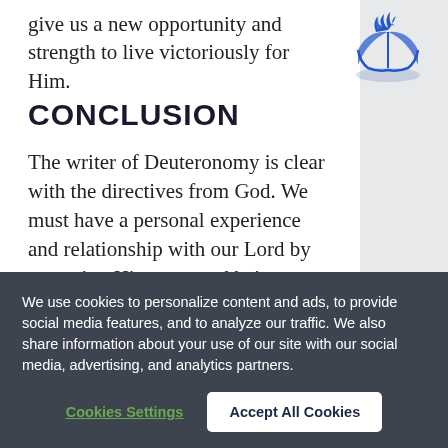give us a new opportunity and strength to live victoriously for Him.
CONCLUSION
The writer of Deuteronomy is clear with the directives from God. We must have a personal experience and relationship with our Lord by accepting His grace and being empowered to live for Him. We should be deliberate about sharing our spiritual values with our children in an atmosphere of acceptance, openness and warmth. And we should be mindful of the fact
[Figure (logo): Seventh-day Adventist Church logo — blue flame/book emblem]
We use cookies to personalize content and ads, to provide social media features, and to analyze our traffic. We also share information about your use of our site with our social media, advertising, and analytics partners.